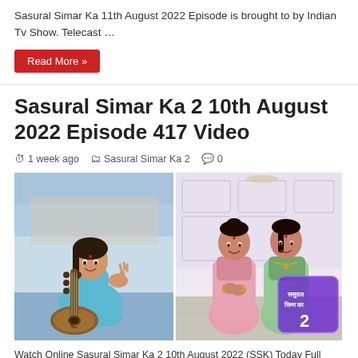Sasural Simar Ka 11th August 2022 Episode is brought to by Indian Tv Show. Telecast …
Read More »
Sasural Simar Ka 2 10th August 2022 Episode 417 Video
1 week ago   Sasural Simar Ka 2   0
[Figure (photo): Two-panel promotional image for Sasural Simar Ka 2. Left panel shows a young woman in teal/turquoise outfit sitting with a sitar (Indian string instrument). Right panel shows two women in traditional Indian attire (pink and green sarees) with the Sasural Simar Ka 2 logo overlay.]
Watch Online Sasural Simar Ka 2 10th August 2022 (SSK) Today Full